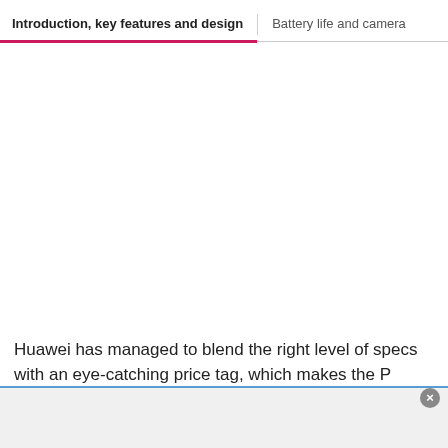Introduction, key features and design | Battery life and camera
Huawei has managed to blend the right level of specs with an eye-catching price tag, which makes the P